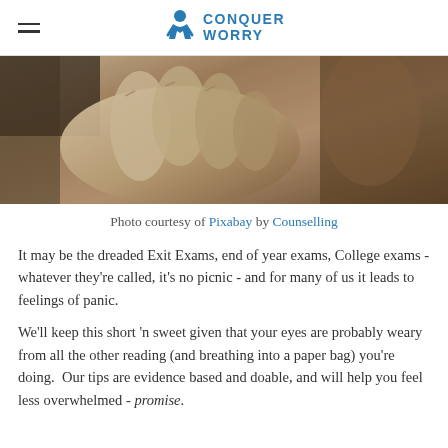Conquer Worry
[Figure (photo): Close-up black and white / sepia photo of a person's hand holding their head, suggesting stress or worry]
Photo courtesy of Pixabay by Counselling
It may be the dreaded Exit Exams, end of year exams, College exams - whatever they're called, it's no picnic - and for many of us it leads to feelings of panic.
We'll keep this short 'n sweet given that your eyes are probably weary from all the other reading (and breathing into a paper bag) you're doing.  Our tips are evidence based and doable, and will help you feel less overwhelmed - promise.